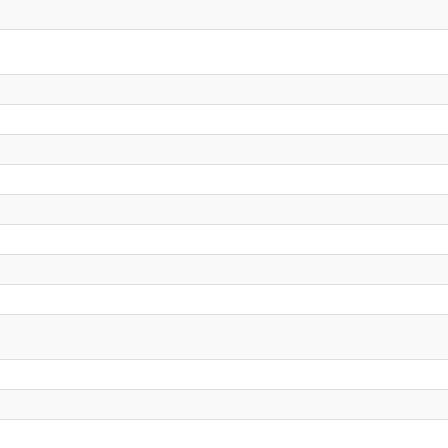| No. | Date | Title |
| --- | --- | --- |
| 704. | 25/01/2016 | Request fo... |
| 705. | 01/01/2016 | Applications...(JRF) for a C... |
| 706. | 23/12/2015 | Invitation of C... |
| 707. | 22/12/2015 | Invitation of C... |
| 708. | 22/12/2015 | Invitation of C... |
| 709. | 22/12/2015 | Invitation of C... |
| 710. | 22/12/2015 | Invitation of C... |
| 711. | 22/12/2015 | Invitation of C... |
| 712. | 22/12/2015 | Invitation of C... |
| 713. | 22/12/2015 | Invitation of C... |
| 714. | 22/12/2015 | Invitation for...& Programm... |
| 715. | 20/10/2015 | Request for C... |
| 716. | 07/10/2015 | Quotations fo... |
| 717. | 07/10/2015 | Quotations fo... |
| 718. | 07/10/2015 | Quotations fo... |
| 719. | 30/09/2015 | Quotations fo... |